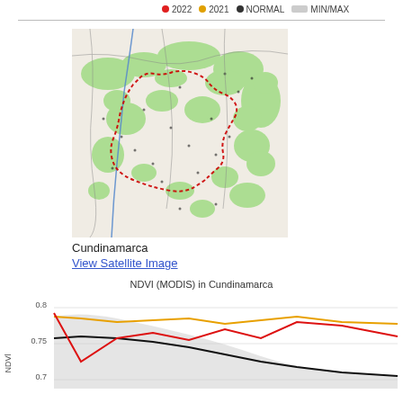2022  2021  NORMAL  MIN/MAX
[Figure (map): Map of Cundinamarca region showing vegetation (green areas) with a red dotted boundary outline and a blue river line running through it, on a light beige/white background.]
Cundinamarca
View Satellite Image
NDVI (MODIS) in Cundinamarca
[Figure (continuous-plot): Line chart of NDVI (MODIS) in Cundinamarca showing four series: red line (2022), yellow/orange line (2021), black line (NORMAL), and grey shaded area (MIN/MAX). Y-axis shows values from approximately 0.65 to 0.8; x-axis shows time periods. The red line is volatile and high (~0.77) at start, dips and rises. Yellow line stays elevated ~0.74-0.79. Black NORMAL line decreases from ~0.74 to ~0.67. Grey shaded MIN/MAX band is wide.]